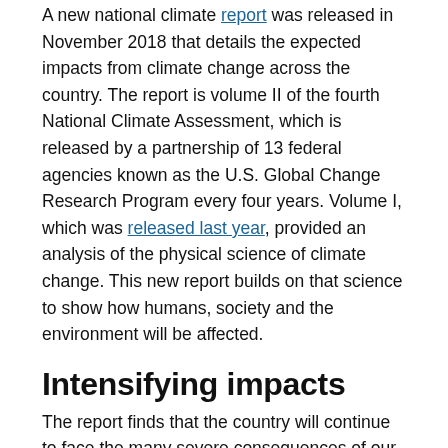A new national climate report was released in November 2018 that details the expected impacts from climate change across the country. The report is volume II of the fourth National Climate Assessment, which is released by a partnership of 13 federal agencies known as the U.S. Global Change Research Program every four years. Volume I, which was released last year, provided an analysis of the physical science of climate change. This new report builds on that science to show how humans, society and the environment will be affected.
Intensifying impacts
The report finds that the country will continue to face the many severe consequences of our changing climate. We are facing:
More intense storms, droughts and heat waves.
Rising seas.
Saltwater intrusion into freshwater